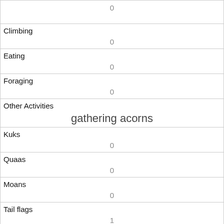|  | 0 |
| Climbing | 0 |
| Eating | 0 |
| Foraging | 0 |
| Other Activities | gathering acorns |
| Kuks | 0 |
| Quaas | 0 |
| Moans | 0 |
| Tail flags | 1 |
| Tail twitches | 0 |
| Approaches | 0 |